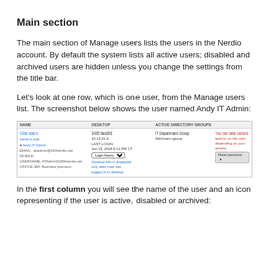Main section
The main section of Manage users lists the users in the Nerdio account. By default the system lists all active users; disabled and archived users are hidden unless you change the settings from the title bar.
Let's look at one row, which is one user, from the Manage users list. The screenshot below shows the user named Andy IT Admin:
[Figure (screenshot): Screenshot of a user row in the Manage users list showing Andy IT Admin with columns for NAME, DESKTOP, ACTIVE DIRECTORY GROUPS, and action options. Callout annotations highlight: Click user's name to edit, Desktop info is displayed only after user has logged in to desktop, and You can take various actions on the user, depending on your access.]
In the first column you will see the name of the user and an icon representing if the user is active, disabled or archived: